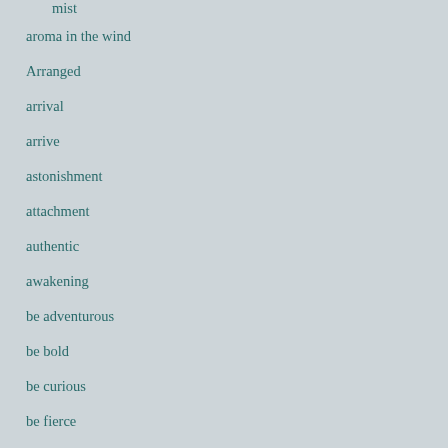mist
aroma in the wind
Arranged
arrival
arrive
astonishment
attachment
authentic
awakening
be adventurous
be bold
be curious
be fierce